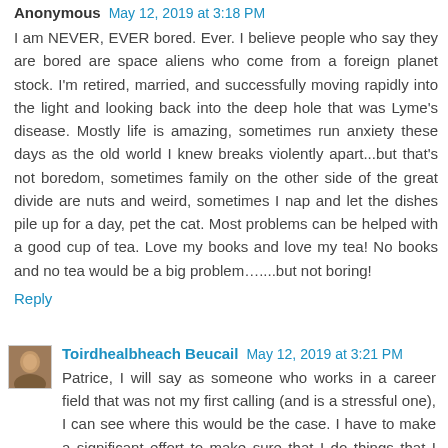Anonymous May 12, 2019 at 3:18 PM
I am NEVER, EVER bored. Ever. I believe people who say they are bored are space aliens who come from a foreign planet stock. I'm retired, married, and successfully moving rapidly into the light and looking back into the deep hole that was Lyme's disease. Mostly life is amazing, sometimes run anxiety these days as the old world I knew breaks violently apart...but that's not boredom, sometimes family on the other side of the great divide are nuts and weird, sometimes I nap and let the dishes pile up for a day, pet the cat. Most problems can be helped with a good cup of tea. Love my books and love my tea! No books and no tea would be a big problem…...but not boring!
Reply
Toirdhealbheach Beucail May 12, 2019 at 3:21 PM
Patrice, I will say as someone who works in a career field that was not my first calling (and is a stressful one), I can see where this would be the case. I have to make a significant effort to make sure that I do things that I enjoy doing, not just things I have to do.